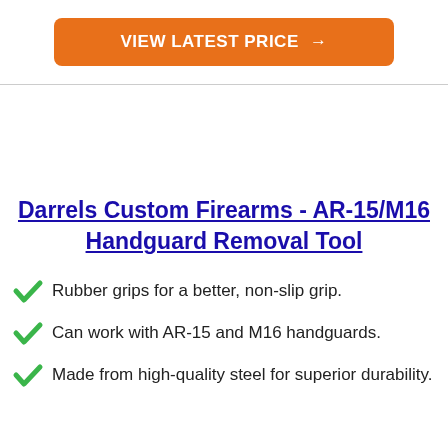[Figure (other): Orange call-to-action button with white bold text 'VIEW LATEST PRICE →']
Darrels Custom Firearms - AR-15/M16 Handguard Removal Tool
Rubber grips for a better, non-slip grip.
Can work with AR-15 and M16 handguards.
Made from high-quality steel for superior durability.